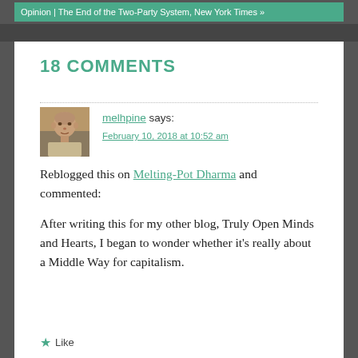Opinion | The End of the Two-Party System, New York Times »
18 COMMENTS
melhpine says:
February 10, 2018 at 10:52 am
Reblogged this on Melting-Pot Dharma and commented:
After writing this for my other blog, Truly Open Minds and Hearts, I began to wonder whether it's really about a Middle Way for capitalism.
Like